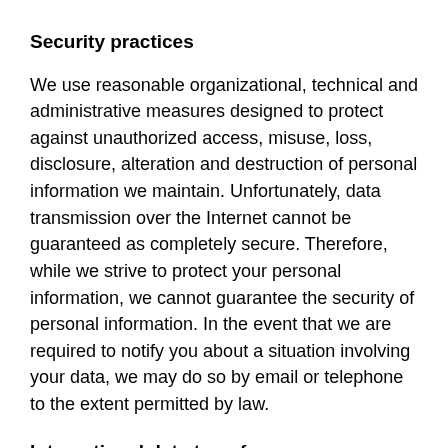Security practices
We use reasonable organizational, technical and administrative measures designed to protect against unauthorized access, misuse, loss, disclosure, alteration and destruction of personal information we maintain. Unfortunately, data transmission over the Internet cannot be guaranteed as completely secure. Therefore, while we strive to protect your personal information, we cannot guarantee the security of personal information. In the event that we are required to notify you about a situation involving your data, we may do so by email or telephone to the extent permitted by law.
International data transfers
We are headquartered in the United States and have service providers in other countries, and your personal information